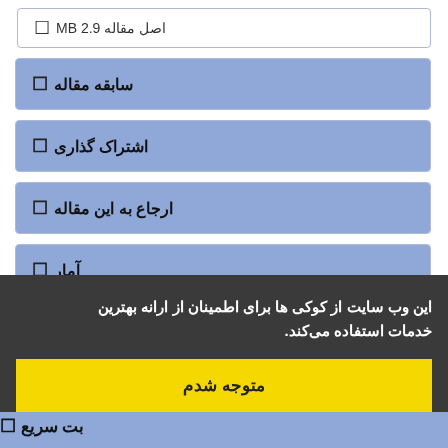اصل مقاله 2.9 MB
سابقه مقاله
اشتراک گذاری
ارجاع به این مقاله
آمار
تعداد مشاهده مقاله: 1233
تعداد دریافت فایل اصل مقاله: 621
این وب سایت از کوکی ها برای اطمینان از ارانه بهترین خدمات استفاده می‌کند.
متوجه شدم
بت سریع